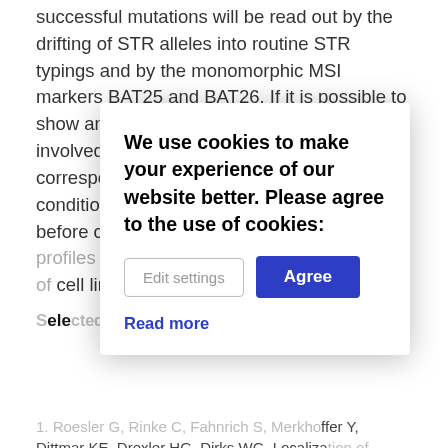successful mutations will be read out by the drifting of STR alleles into routine STR typings and by the monomorphic MSI markers BAT25 and BAT26. If it is possible to show an impact of specific genes which are involved in the development of MSI, a corresponding analysis should be a pre-condition for new established cell lines, before cells and respective DNA reference profiles are entered into any STR databases of cell line repositories.
Selected References
1. Roesler G, Rinke C, Fahnrich S, Merkhoffer Y, Dittmar KE, Drexler HG, Dirks WG. Localization of hMLH1 and hPMS2 to nucleoli. J Cell Sci. 2004 Aug 15;117(Pt 18)...
2. Koerner CA, Rinke C, Fahnrich S, Merkhoffer Y, Dittmar KE, Drexler HG, Dirks WG. Stable expression of MutLy in human cells reveals no specific mismatch-related DNA hybridization...
We use cookies to make your experience of our website better. Please agree to the use of cookies: